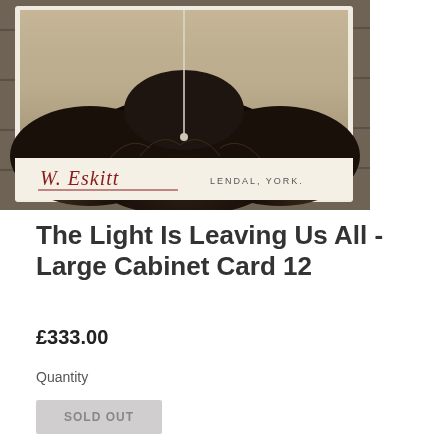[Figure (photo): Vintage cabinet card photograph showing a dark fluffy cat (or animal) from above/behind, with a pin and string visible. The card has a decorative signature 'W. Eskitt' in red cursive and 'LENDAL, YORK.' in small caps. Card is displayed on a wooden surface background.]
The Light Is Leaving Us All - Large Cabinet Card 12
£333.00
Quantity
SOLD OUT